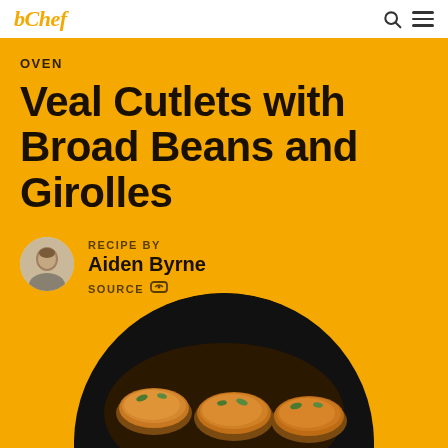bChef
OVEN
Veal Cutlets with Broad Beans and Girolles
RECIPE BY
Aiden Byrne
SOURCE
[Figure (photo): Circular cropped photo of veal cutlets dish on a dark plate, showing cooked meat with green garnish]